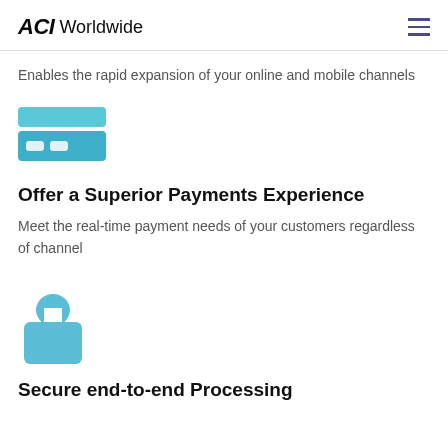ACI Worldwide
Enables the rapid expansion of your online and mobile channels
[Figure (illustration): Credit card icon made of two blue rectangles — a solid light-blue bar on top and a blue rectangle with two small white rounded squares below, representing a payment card]
Offer a Superior Payments Experience
Meet the real-time payment needs of your customers regardless of channel
[Figure (illustration): Blue padlock icon — a rounded lock body (rectangle) with a circular shackle above it, in light blue color]
Secure end-to-end Processing